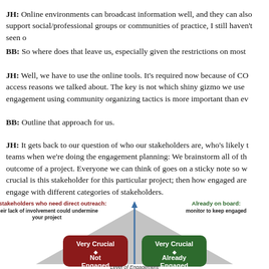JH: Online environments can broadcast information well, and they can also support social/professional groups or communities of practice, I still haven't seen o
BB: So where does that leave us, especially given the restrictions on most
JH: Well, we have to use the online tools. It's required now because of CO access reasons we talked about. The key is not which shiny gizmo we use engagement using community organizing tactics is more important than ev
BB: Outline that approach for us.
JH: It gets back to our question of who our stakeholders are, who's likely t teams when we're doing the engagement planning: We brainstorm all of th outcome of a project. Everyone we can think of goes on a sticky note so w crucial is this stakeholder for this particular project; then how engaged are engage with different categories of stakeholders.
[Figure (infographic): Stakeholder engagement matrix diagram showing a triangle/mountain shape. Left quadrant labeled 'Very Crucial / Not Engaged' in red with label above: 'Key stakeholders who need direct outreach: their lack of involvement could undermine your project'. Right quadrant labeled 'Very Crucial / Already Engaged' in green with label above: 'Already on board: monitor to keep engaged'. Vertical blue arrow on center axis. X-axis labeled 'Level of Engagement'.]